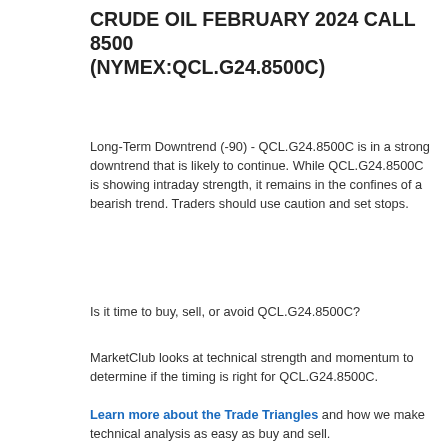CRUDE OIL FEBRUARY 2024 CALL 8500 (NYMEX:QCL.G24.8500C)
Long-Term Downtrend (-90) - QCL.G24.8500C is in a strong downtrend that is likely to continue. While QCL.G24.8500C is showing intraday strength, it remains in the confines of a bearish trend. Traders should use caution and set stops.
Is it time to buy, sell, or avoid QCL.G24.8500C?
MarketClub looks at technical strength and momentum to determine if the timing is right for QCL.G24.8500C.
Learn more about the Trade Triangles and how we make technical analysis as easy as buy and sell.
[Figure (line-chart): Line chart showing NYMEX Crude Oil February 2024 Call 8500 price over time, with y-axis labels 14-19. Two lines visible (teal/blue and orange/yellow), showing a peak around 15 then decline.]